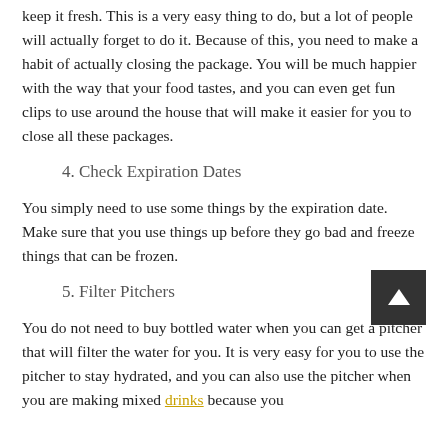keep it fresh. This is a very easy thing to do, but a lot of people will actually forget to do it. Because of this, you need to make a habit of actually closing the package. You will be much happier with the way that your food tastes, and you can even get fun clips to use around the house that will make it easier for you to close all these packages.
4. Check Expiration Dates
You simply need to use some things by the expiration date. Make sure that you use things up before they go bad and freeze things that can be frozen.
5. Filter Pitchers
You do not need to buy bottled water when you can get a pitcher that will filter the water for you. It is very easy for you to use the pitcher to stay hydrated, and you can also use the pitcher when you are making mixed drinks because you